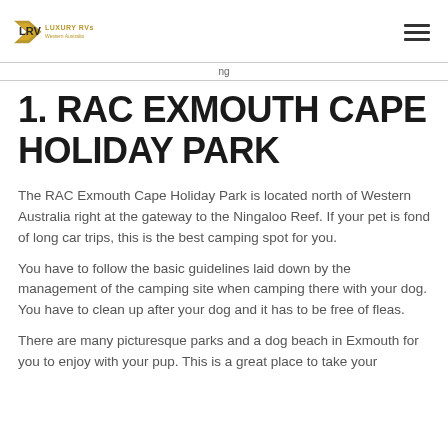Luxury RVs Western Australia
1. RAC EXMOUTH CAPE HOLIDAY PARK
The RAC Exmouth Cape Holiday Park is located north of Western Australia right at the gateway to the Ningaloo Reef. If your pet is fond of long car trips, this is the best camping spot for you.
You have to follow the basic guidelines laid down by the management of the camping site when camping there with your dog. You have to clean up after your dog and it has to be free of fleas.
There are many picturesque parks and a dog beach in Exmouth for you to enjoy with your pup. This is a great place to take your